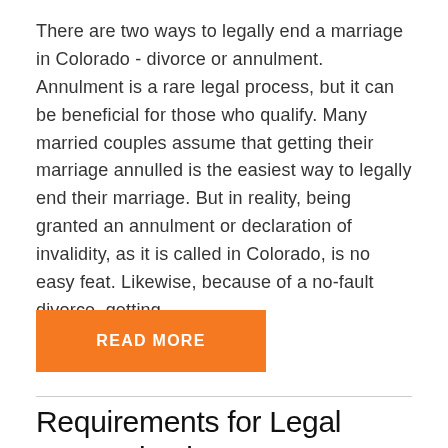There are two ways to legally end a marriage in Colorado - divorce or annulment. Annulment is a rare legal process, but it can be beneficial for those who qualify. Many married couples assume that getting their marriage annulled is the easiest way to legally end their marriage. But in reality, being granted an annulment or declaration of invalidity, as it is called in Colorado, is no easy feat. Likewise, because of a no-fault divorce, getting...
[Figure (other): Orange button with white text 'READ MORE']
Requirements for Legal Separation in Colorado